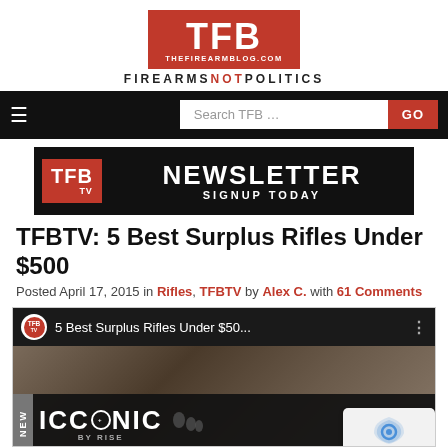[Figure (logo): TFB (The Firearm Blog) logo with red box and FIREARMS NOT POLITICS tagline]
[Figure (screenshot): Navigation bar with hamburger menu icon and search box with GO button]
[Figure (screenshot): TFB Newsletter Signup Today banner advertisement]
TFBTV: 5 Best Surplus Rifles Under $500
Posted April 17, 2015 in Rifles, TFBTV by Alex C. with 61 Comments
[Figure (screenshot): YouTube video thumbnail for '5 Best Surplus Rifles Under $50...' with ICONIC by Rise overlay advertisement]